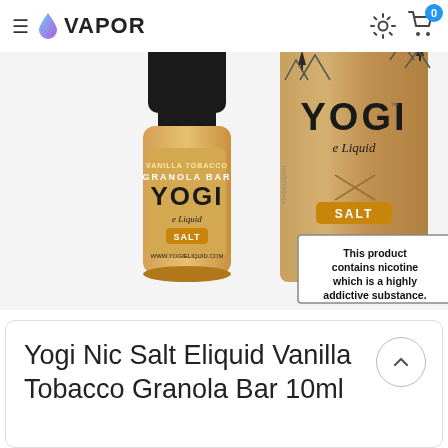≡ VAPOR
[Figure (photo): Product photo showing Yogi Nic Salt e-liquid bottle (Vanilla Tobacco Granola Bar, SALT) beside its kraft-paper box with YOGI e Liquid SALT branding and a nicotine warning label reading 'This product contains nicotine which is a highly addictive substance.']
Yogi Nic Salt Eliquid Vanilla Tobacco Granola Bar 10ml